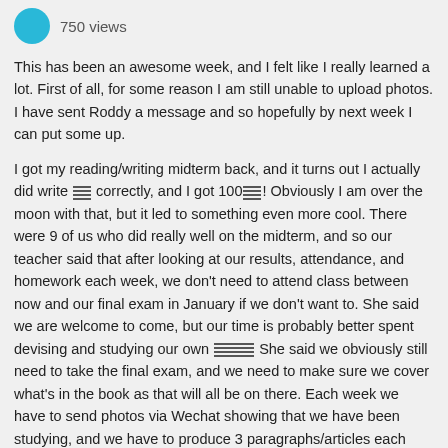750 views
This has been an awesome week, and I felt like I really learned a lot.  First of all, for some reason I am still unable to upload photos.  I have sent Roddy a message and so hopefully by next week I can put some up.
I got my reading/writing midterm back, and it turns out I actually did write [symbol] correctly, and I got 100[symbol]!  Obviously I am over the moon with that, but it led to something even more cool.  There were 9 of us who did really well on the midterm, and so our teacher said that after looking at our results, attendance, and homework each week, we don't need to attend class between now and our final exam in January if we don't want to.  She said we are welcome to come, but our time is probably better spent devising and studying our own [symbols]  She said we obviously still need to take the final exam, and we need to make sure we cover what's in the book as that will all be on there.  Each week we have to send photos via Wechat showing that we have been studying, and we have to produce 3 paragraphs/articles each week, on whatever we choose.  We can either send photos of those to her, or leave them in the classroom the night before and she will correct them for us (I am definitely